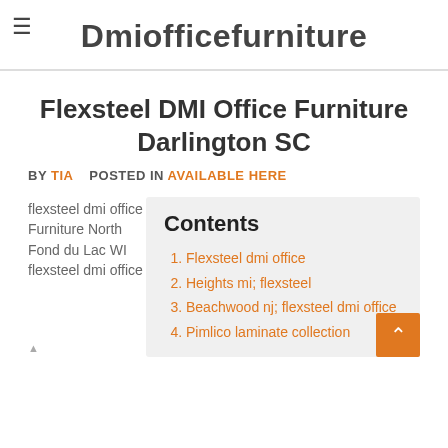Dmiofficefurniture
Flexsteel DMI Office Furniture Darlington SC
BY TIA   POSTED IN AVAILABLE HERE
flexsteel dmi office Furniture North Fond du Lac WI flexsteel dmi office
Contents
Flexsteel dmi office
Heights mi; flexsteel
Beachwood nj; flexsteel dmi office
Pimlico laminate collection